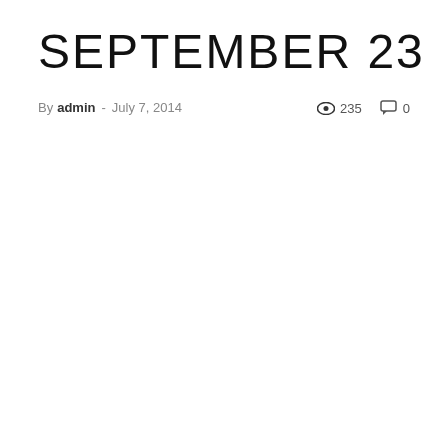SEPTEMBER 23
By admin - July 7, 2014   235   0